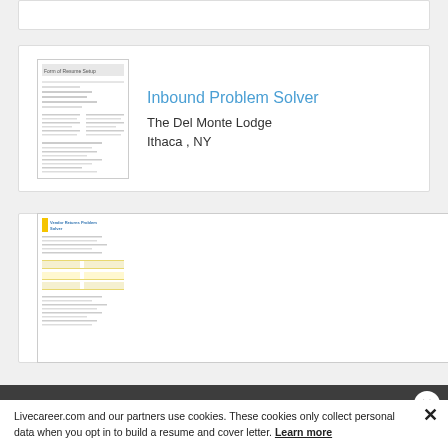[Figure (screenshot): Thumbnail image of a resume document for Inbound Problem Solver]
Inbound Problem Solver
The Del Monte Lodge
Ithaca , NY
[Figure (screenshot): Thumbnail image of a resume document for Vendor Returns Problem Solver]
Vendor Returns Problem Solver
Morgan Stanley
Baton Rouge , LA
Livecareer.com and our partners use cookies. These cookies only collect personal data when you opt in to build a resume and cover letter. Learn more